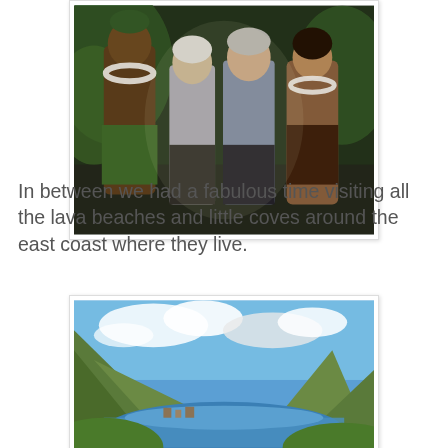[Figure (photo): Four people posing together in what appears to be a tropical outdoor setting. From left: a shirtless man in traditional Hawaiian attire with a lei, an older woman in a light top, an older man in a white shirt, and a woman in a Hawaiian costume. Green foliage in the background.]
In between we had a fabulous time visiting all the lava beaches and little coves around the east coast where they live.
[Figure (photo): Scenic coastal landscape photograph showing a mountain and bay area with blue water, green hills, and partly cloudy sky. Appears to be Hawaii's east coast.]